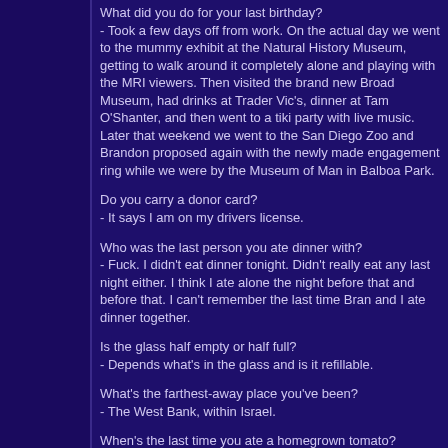What did you do for your last birthday?
- Took a few days off from work. On the actual day we went to the mummy exhibit at the Natural History Museum, getting to walk around it completely alone and playing with the MRI viewers. Then visited the brand new Broad Museum, had drinks at Trader Vic's, dinner at Tam O'Shanter, and then went to a tiki party with live music. Later that weekend we went to the San Diego Zoo and Brandon proposed again with the newly made engagement ring while we were by the Museum of Man in Balboa Park.
Do you carry a donor card?
- It says I am on my drivers license.
Who was the last person you ate dinner with?
- Fuck. I didn't eat dinner tonight. Didn't really eat any last night either. I think I ate alone the night before that and before that. I can't remember the last time Bran and I ate dinner together.
Is the glass half empty or half full?
- Depends what's in the glass and is it refillable.
What's the farthest-away place you've been?
- The West Bank, within Israel.
When's the last time you ate a homegrown tomato?
- I can't remember the last time Mom grew